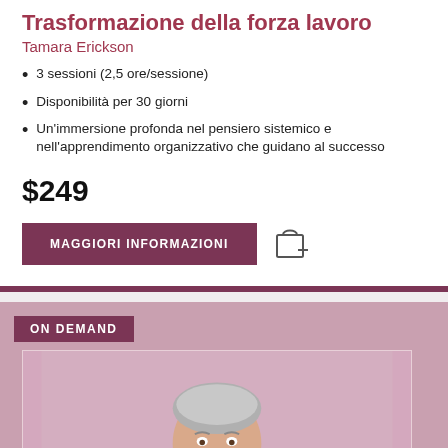Trasformazione della forza lavoro
Tamara Erickson
3 sessioni (2,5 ore/sessione)
Disponibilità per 30 giorni
Un'immersione profonda nel pensiero sistemico e nell'apprendimento organizzativo che guidano al successo
$249
MAGGIORI INFORMAZIONI
[Figure (photo): ON DEMAND badge with a man in a suit smiling, set against a pink/mauve background with an inner rectangular frame]